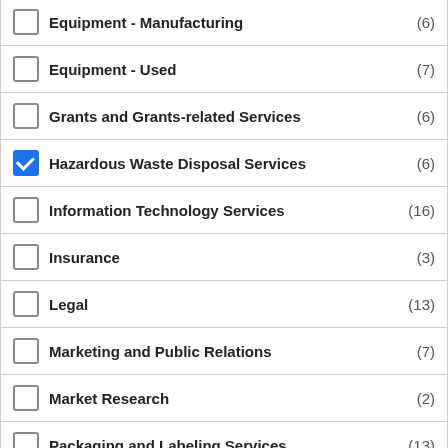Equipment - Manufacturing (6)
Equipment - Used (7)
Grants and Grants-related Services (6)
Hazardous Waste Disposal Services (6)
Information Technology Services (16)
Insurance (3)
Legal (13)
Marketing and Public Relations (7)
Market Research (2)
Packaging and Labeling Services (13)
Professional and Trade Associations (1)
Real Estate (8)
Scientific and Medical Writing (2)
Staffing (15)
Statistics and Data Management (5)